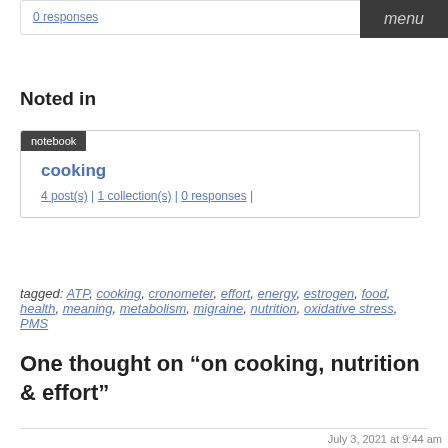0 responses
menu
Noted in
notebook
cooking
4 post(s) | 1 collection(s) | 0 responses |
tagged: ATP, cooking, cronometer, effort, energy, estrogen, food, health, meaning, metabolism, migraine, nutrition, oxidative stress, PMS
One thought on “on cooking, nutrition & effort”
July 3, 2021 at 9:44 am